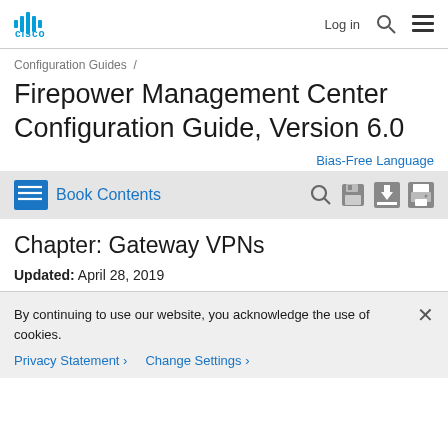Cisco | Log in | Search | Menu
Configuration Guides /
Firepower Management Center Configuration Guide, Version 6.0
Bias-Free Language
Book Contents
Chapter: Gateway VPNs
Updated: April 28, 2019
By continuing to use our website, you acknowledge the use of cookies.
Privacy Statement > Change Settings >